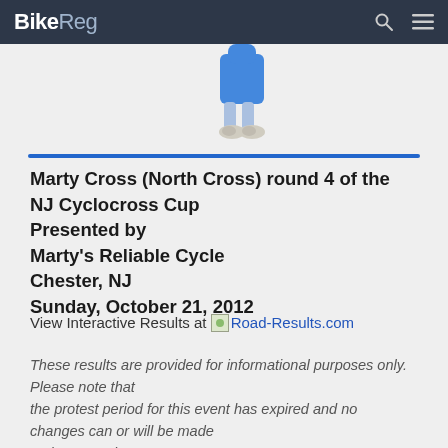BikeReg
[Figure (illustration): BikeReg mascot character (blue figure with white shoes) standing above a blue horizontal rule]
Marty Cross (North Cross) round 4 of the NJ Cyclocross Cup
Presented by
Marty's Reliable Cycle
Chester, NJ
Sunday, October 21, 2012
View Interactive Results at Road-Results.com
These results are provided for informational purposes only.  Please note that the protest period for this event has expired and no changes can or will be made to these results.